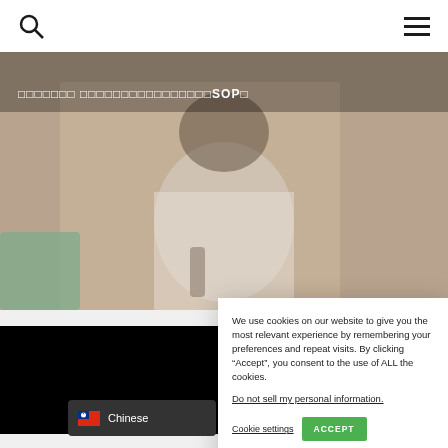Navigation bar with search icon and hamburger menu
[Figure (photo): Photo of a person in a white shirt holding a microphone, with text overlay in Chinese characters and 'SOP' visible on the hero banner]
We use cookies on our website to give you the most relevant experience by remembering your preferences and repeat visits. By clicking “Accept”, you consent to the use of ALL the cookies.
Do not sell my personal information.
Cookie settings
ACCEPT
[Figure (photo): Black rectangle image placeholder]
Chinese